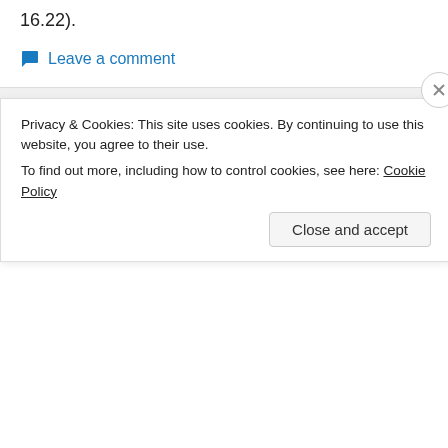16.22).
Leave a comment
Exegetical look into Revelation 22:7-13
April 19, 2011   Revelation chp 22   Alpha, Bible study, Blessed, Come, come about, coming soon, into thy
Privacy & Cookies: This site uses cookies. By continuing to use this website, you agree to their use. To find out more, including how to control cookies, see here: Cookie Policy
Close and accept